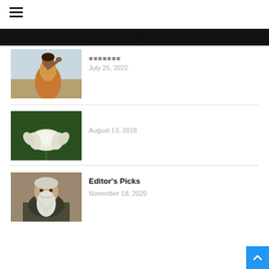[Figure (other): Hamburger menu icon (three horizontal lines)]
[Figure (other): Black banner bar with triangle accent]
[Figure (photo): Painting of a woman in an orange/brown sari posing with hand near head]
◼◼◼◼◼◼◼
July 25, 2022
[Figure (photo): Photograph of a white lotus flower against a dark green background]
August 13, 2018
[Figure (photo): Portrait painting of a bearded man (resembling Tolstoy) with long white beard]
Editor's Picks
November 18, 2020